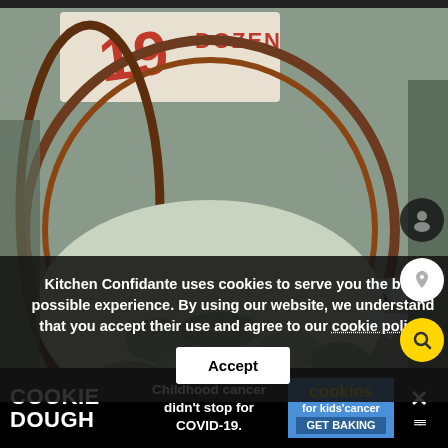[Figure (photo): Overhead photo of a basket full of oysters on ice at a market, with a handwritten price sign reading '19 DOZEN' in red on white paper in the background. Rustic wire basket, crushed ice, shellfish.]
Kitchen Confidante uses cookies to serve you the best possible experience. By using our website, we understand that you accept their use and agree to our cookie policy.
[Figure (screenshot): Cookie consent banner with text and an Accept button, overlaid on the photo. Also includes a Cookie Dough advertisement banner at the bottom with 'Childhood cancer didn't stop for COVID-19.' and 'cookies for kids cancer GET BAKING' badge, plus close/menu icons on the right.]